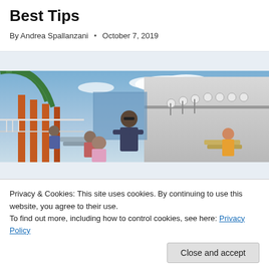Best Tips
By Andrea Spallanzani • October 7, 2019
[Figure (photo): People relaxing on a cruise ship deck with lounge chairs; a man in sunglasses and a t-shirt stands in the foreground; cruise ship structure and spherical deck lights visible in background against blue sky with clouds.]
Privacy & Cookies: This site uses cookies. By continuing to use this website, you agree to their use.
To find out more, including how to control cookies, see here: Privacy Policy
Close and accept
How To Stay Fit on a Cruise – My